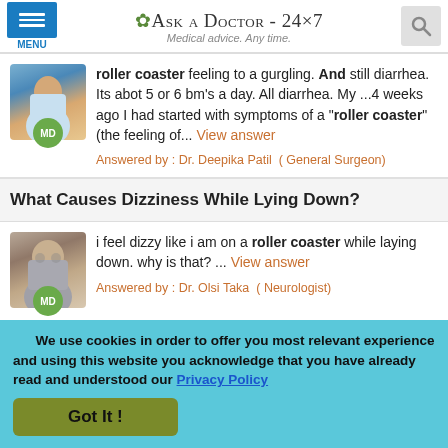Ask a Doctor - 24x7 | Medical advice. Any time.
roller coaster feeling to a gurgling. And still diarrhea. Its abot 5 or 6 bm's a day. All diarrhea. My ...4 weeks ago I had started with symptoms of a "roller coaster" (the feeling of... View answer
Answered by : Dr. Deepika Patil ( General Surgeon)
What Causes Dizziness While Lying Down?
i feel dizzy like i am on a roller coaster while laying down. why is that? ... View answer
Answered by : Dr. Olsi Taka ( Neurologist)
We use cookies in order to offer you most relevant experience and using this website you acknowledge that you have already read and understood our Privacy Policy
Got It !